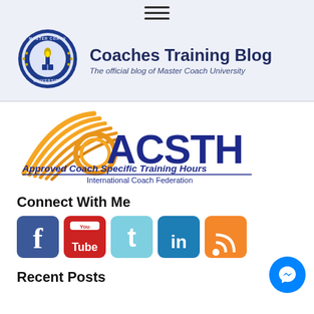[Figure (logo): Hamburger menu icon (three horizontal lines) at top center]
[Figure (logo): Master Coach University circular badge logo with torch and book]
Coaches Training Blog
The official blog of Master Coach University
[Figure (logo): ACSTH - Approved Coach Specific Training Hours, International Coach Federation logo with orange wing/fan graphic and navy blue text]
Connect With Me
[Figure (infographic): Social media icons row: Facebook, YouTube, Twitter, LinkedIn, RSS feed]
Recent Posts